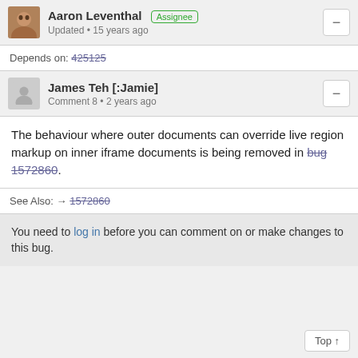Aaron Leventhal  Assignee
Updated • 15 years ago
Depends on: 425125
James Teh [:Jamie]
Comment 8 • 2 years ago
The behaviour where outer documents can override live region markup on inner iframe documents is being removed in bug 1572860.
See Also: → 1572860
You need to log in before you can comment on or make changes to this bug.